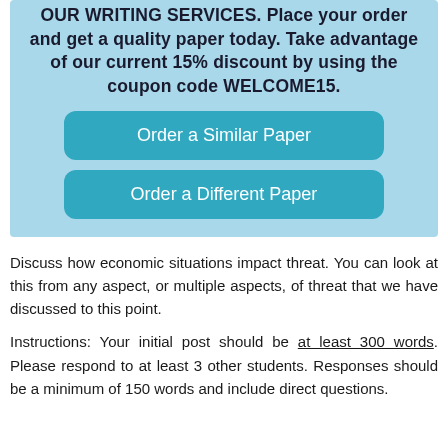OUR WRITING SERVICES. Place your order and get a quality paper today. Take advantage of our current 15% discount by using the coupon code WELCOME15.
[Figure (other): Two teal rounded-rectangle buttons: 'Order a Similar Paper' and 'Order a Different Paper']
Discuss how economic situations impact threat. You can look at this from any aspect, or multiple aspects, of threat that we have discussed to this point.
Instructions: Your initial post should be at least 300 words. Please respond to at least 3 other students. Responses should be a minimum of 150 words and include direct questions.